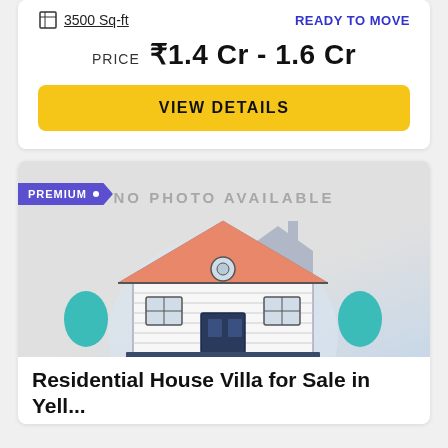3500 Sq-ft   READY TO MOVE
PRICE  ₹1.4 Cr - 1.6 Cr
VIEW DETAILS
[Figure (illustration): No photo available placeholder with house illustration and PREMIUM badge]
Residential House Villa for Sale in Yell...